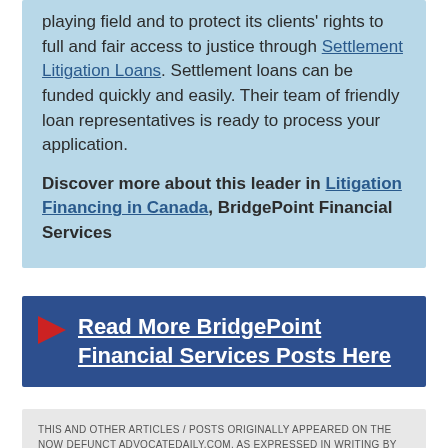playing field and to protect its clients' rights to full and fair access to justice through Settlement Litigation Loans. Settlement loans can be funded quickly and easily. Their team of friendly loan representatives is ready to process your application.
Discover more about this leader in Litigation Financing in Canada, BridgePoint Financial Services
Read More BridgePoint Financial Services Posts Here
THIS AND OTHER ARTICLES / POSTS ORIGINALLY APPEARED ON THE NOW DEFUNCT ADVOCATEDAILY.COM. AS EXPRESSED IN WRITING BY